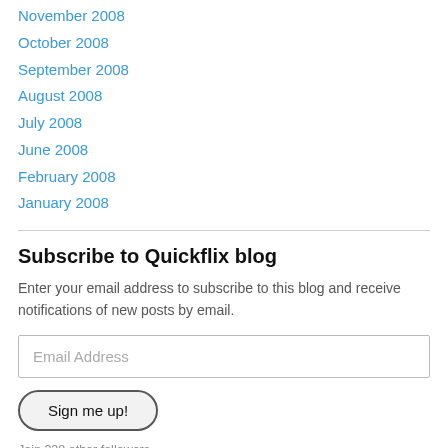November 2008
October 2008
September 2008
August 2008
July 2008
June 2008
February 2008
January 2008
Subscribe to Quickflix blog
Enter your email address to subscribe to this blog and receive notifications of new posts by email.
Email Address
Sign me up!
Join 338 other followers